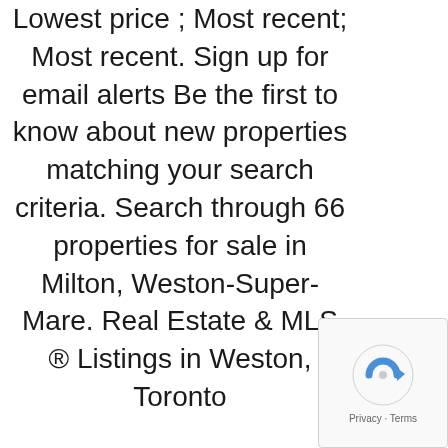Lowest price ; Most recent; Most recent. Sign up for email alerts Be the first to know about new properties matching your search criteria. Search through 66 properties for sale in Milton, Weston-Super-Mare. Real Estate & MLS ® Listings in Weston, Toronto
[Figure (other): reCAPTCHA privacy widget showing circular arrow icon and Privacy · Terms text]